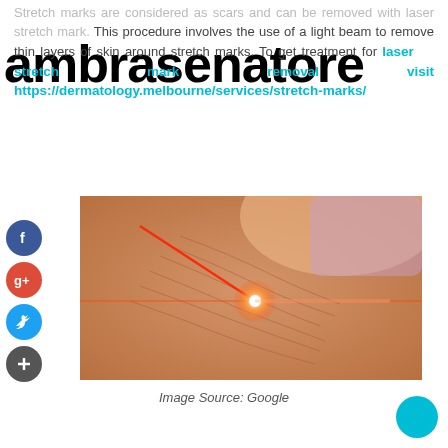Stretch marks are considered as scars and can be removed with laser stretch mark. This procedure involves the use of a light beam to remove thin layers of skin around stretch marks. To get treatment for laser stretch mark removal visit https://dermatology.melbourne/services/stretch-marks/
[Figure (photo): Photograph showing laser treatment being applied to stretch marks on skin, with a red laser beam and glowing point of contact visible]
Image Source: Google